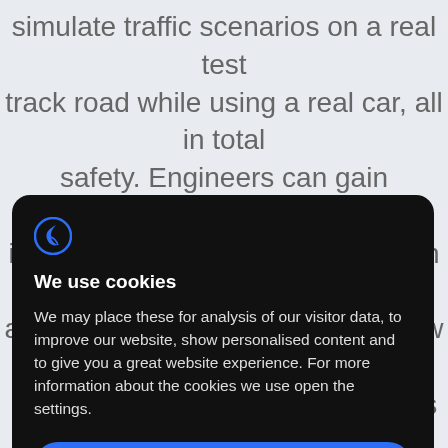simulate traffic scenarios on a real test track road while using a real car, all in total safety. Engineers can gain important insights on the interaction between people and the car for development of new safety, driver assistance and autonomous driving
[Figure (screenshot): Cookie consent modal dialog on dark background with logo, title 'We use cookies', body text, and three buttons: Accept all, Deny, No adjust]